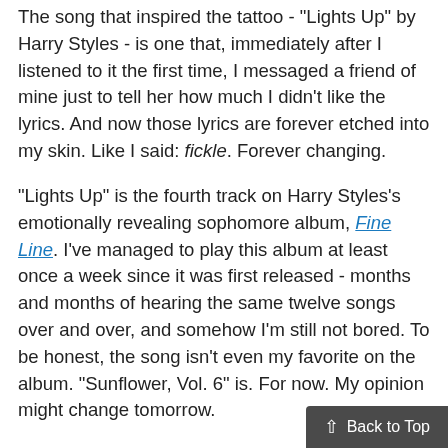The song that inspired the tattoo - "Lights Up" by Harry Styles - is one that, immediately after I listened to it the first time, I messaged a friend of mine just to tell her how much I didn't like the lyrics. And now those lyrics are forever etched into my skin. Like I said: fickle. Forever changing.
"Lights Up" is the fourth track on Harry Styles's emotionally revealing sophomore album, Fine Line. I've managed to play this album at least once a week since it was first released - months and months of hearing the same twelve songs over and over, and somehow I'm still not bored. To be honest, the song isn't even my favorite on the album. "Sunflower, Vol. 6" is. For now. My opinion might change tomorrow.
"Do you know who you are?" the song asks. Sometimes.